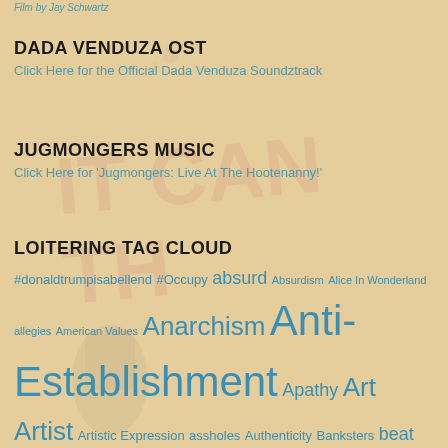Film by Jay Schwartz
DADA VENDUZA OST
Click Here for the Official Dada Venduza Soundztrack
JUGMONGERS MUSIC
Click Here for 'Jugmongers: Live At The Hootenanny!'
LOITERING TAG CLOUD
#donaldtrumpisabellend #Occupy absurd Absurdism Alice In Wonderland allegies American Values Anarchism Anti-Establishment Apathy Art Artist Artistic Expression assholes Authenticity Banksters beat poetry Bible Thumpers Big Brother Big Business Black Friday Bob Dylan Bohemianism Brian Wilson Canterbury Cannibalism cartoon Censorship Change Chaos Theory